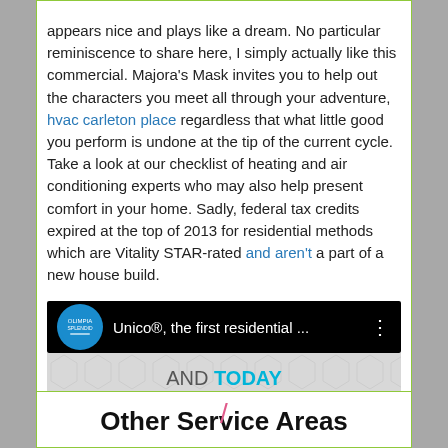appears nice and plays like a dream. No particular reminiscence to share here, I simply actually like this commercial. Majora's Mask invites you to help out the characters you meet all through your adventure, hvac carleton place regardless that what little good you perform is undone at the tip of the current cycle. Take a look at our checklist of heating and air conditioning experts who may also help present comfort in your home. Sadly, federal tax credits expired at the top of 2013 for residential methods which are Vitality STAR-rated and aren't a part of a new house build.
[Figure (screenshot): Video bar with Olimpia Splendid logo (blue circle), title 'Unico®, the first residential …', and three-dot menu on black background. Below is a honeycomb-patterned thumbnail area with 'AND TODAY' text and a pink accent shape.]
Other Service Areas